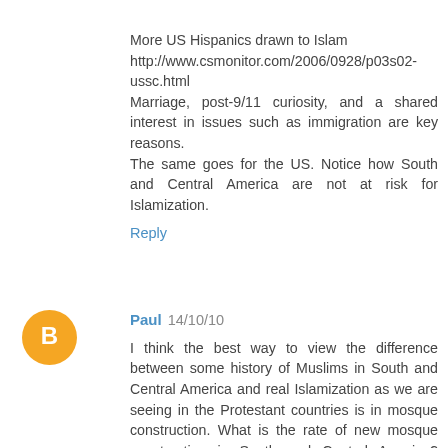More US Hispanics drawn to Islam http://www.csmonitor.com/2006/0928/p03s02-ussc.html Marriage, post-9/11 curiosity, and a shared interest in issues such as immigration are key reasons. The same goes for the US. Notice how South and Central America are not at risk for Islamization.
Reply
Paul 14/10/10
I think the best way to view the difference between some history of Muslims in South and Central America and real Islamization as we are seeing in the Protestant countries is in mosque construction. What is the rate of new mosque construction in South and Central America? Recall such construction is largely foreign funded here in the US and Europe. Where are the mosques going up in Latin America? I'll make a good guess that it's mostly nowhere. And the rich Muslims abroad aren't even making an effort. Muslims are not settling in South and Central America and